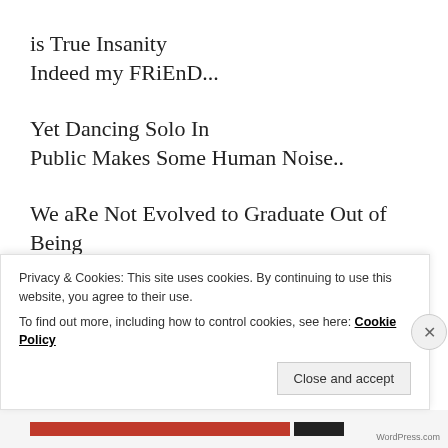is True Insanity
Indeed my FRiEnD...
Yet Dancing Solo In
Public Makes Some Human Noise..
We aRe Not Evolved to Graduate Out of Being Human...
Or Simply Out of Being Naked Nature Free WHeRE the Greatest
[partially visible] Human Paradox is the essence of Nature Deficit...
Privacy & Cookies: This site uses cookies. By continuing to use this website, you agree to their use.
To find out more, including how to control cookies, see here: Cookie Policy
Close and accept